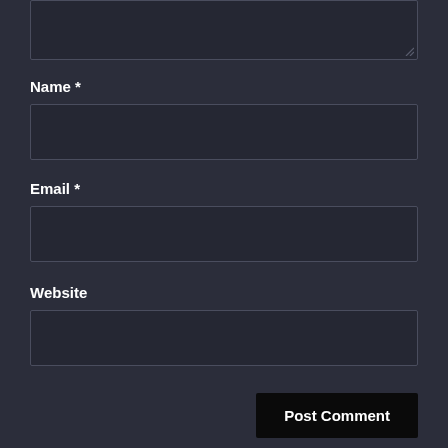[Figure (screenshot): Partial textarea input field at top of page, dark themed]
Name *
[Figure (screenshot): Empty text input field for Name]
Email *
[Figure (screenshot): Empty text input field for Email]
Website
[Figure (screenshot): Empty text input field for Website]
Post Comment